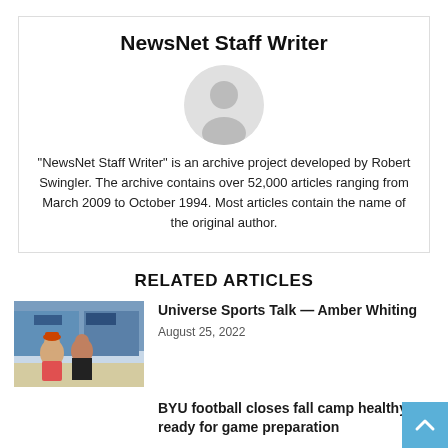NewsNet Staff Writer
"NewsNet Staff Writer" is an archive project developed by Robert Swingler. The archive contains over 52,000 articles ranging from March 2009 to October 1994. Most articles contain the name of the original author.
RELATED ARTICLES
[Figure (photo): Two people appear to be talking in a gym/sports facility setting with blue and white decor.]
Universe Sports Talk — Amber Whiting
August 25, 2022
BYU football closes fall camp healthy, ready for game preparation